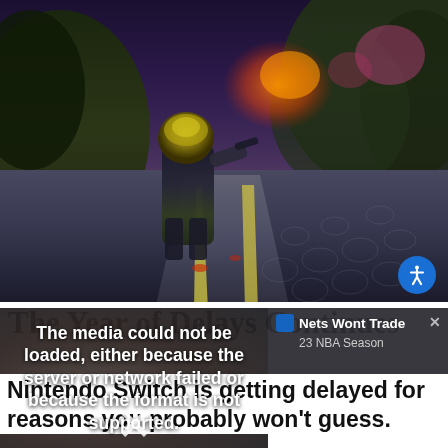[Figure (screenshot): Video game screenshot showing an armored character standing on a cobblestone path with trees and orange explosion in background, with an accessibility button overlay]
The Year of Delays Continues
[Figure (screenshot): Media error overlay reading: The media could not be loaded, either because the server or network failed or because the format is not supported. With a large X mark below.]
[Figure (screenshot): News ticker overlay reading: Nets Wont Trade, 23 NBA Season with close button]
Nintendo Switch is getting delayed for reasons you probably won't guess.